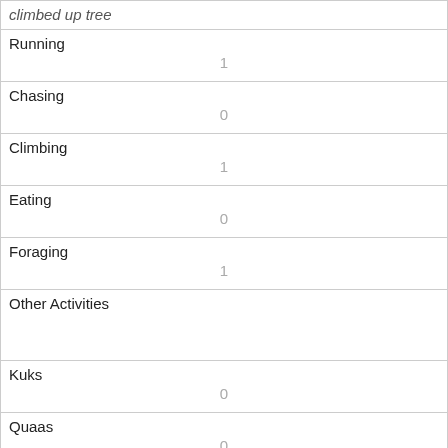| climbed up tree |  |
| Running | 1 |
| Chasing | 0 |
| Climbing | 1 |
| Eating | 0 |
| Foraging | 1 |
| Other Activities |  |
| Kuks | 0 |
| Quaas | 0 |
| Moans | 0 |
| Tail flags | 0 |